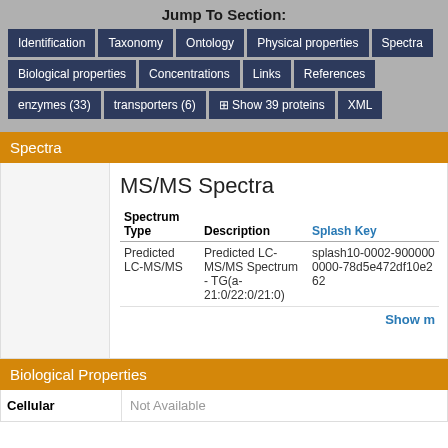Jump To Section:
Identification
Taxonomy
Ontology
Physical properties
Spectra
Biological properties
Concentrations
Links
References
enzymes (33)
transporters (6)
Show 39 proteins
XML
Spectra
MS/MS Spectra
| Spectrum Type | Description | Splash Key |
| --- | --- | --- |
| Predicted LC-MS/MS | Predicted LC-MS/MS Spectrum - TG(a-21:0/22:0/21:0) | splash10-0002-9000000000-78d5e472df10e262... |
Show m
Biological Properties
Cellular
Not Available